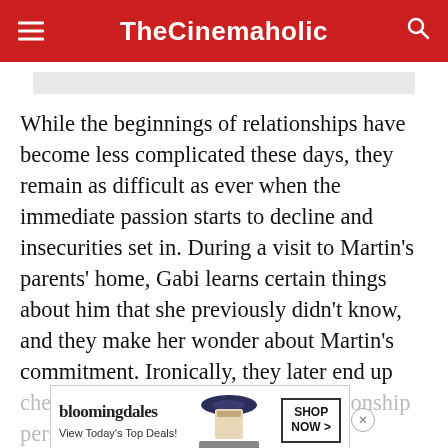TheCinemaholic
While the beginnings of relationships have become less complicated these days, they remain as difficult as ever when the immediate passion starts to decline and insecurities set in. During a visit to Martin’s parents’ home, Gabi learns certain things about him that she previously didn’t know, and they make her wonder about Martin’s commitment. Ironically, they later end up cheating on each other. But the relationship persists and is tested to its definition. In Newness, director Drake
[Figure (screenshot): Bloomingdales advertisement banner with logo, 'View Today's Top Deals!' text, a woman in a hat, and a 'SHOP NOW >' button]